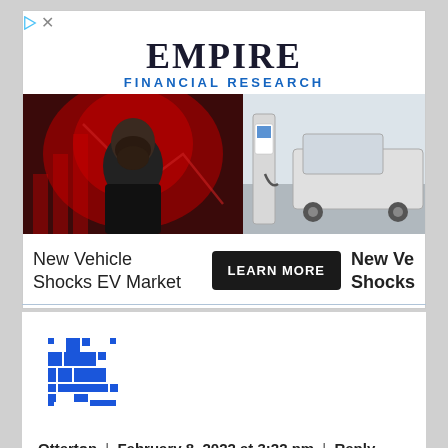[Figure (other): Empire Financial Research advertisement banner with logo, man photo, EV charging station photo, and learn more button. Text: 'New Vehicle Shocks EV Market' with 'LEARN MORE' button and partial repeat on right.]
Otterton | February 8, 2022 at 3:22 pm | Reply